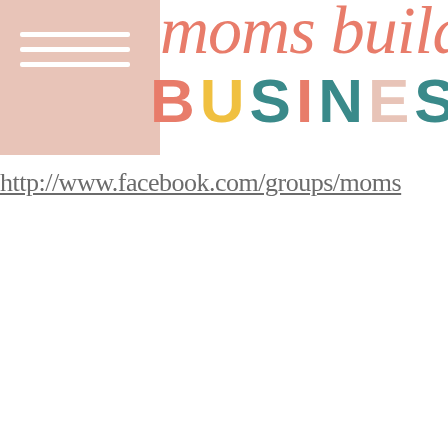[Figure (logo): Moms Building Businesses logo with pink sidebar, hamburger menu icon, italic coral text 'moms building' and colorful block letters 'BUSINESSES']
http://www.facebook.com/groups/moms